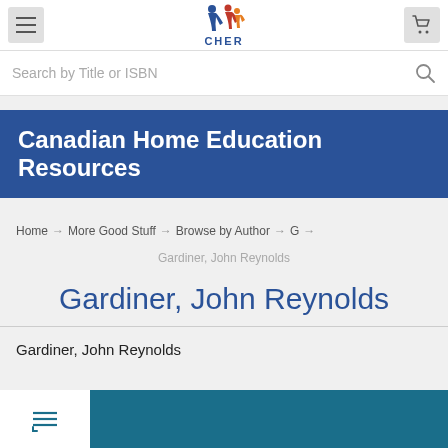CHER - Canadian Home Education Resources
Search by Title or ISBN
Canadian Home Education Resources
Home → More Good Stuff → Browse by Author → G → Gardiner, John Reynolds
Gardiner, John Reynolds
Gardiner, John Reynolds